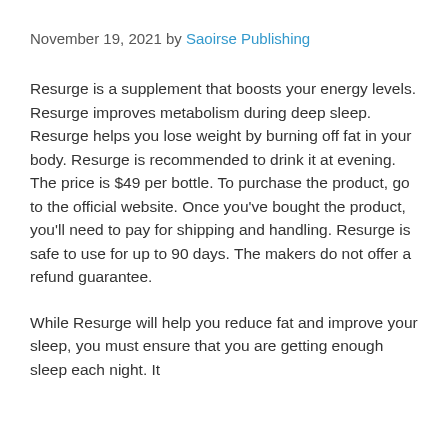November 19, 2021 by Saoirse Publishing
Resurge is a supplement that boosts your energy levels. Resurge improves metabolism during deep sleep. Resurge helps you lose weight by burning off fat in your body. Resurge is recommended to drink it at evening. The price is $49 per bottle. To purchase the product, go to the official website. Once you've bought the product, you'll need to pay for shipping and handling. Resurge is safe to use for up to 90 days. The makers do not offer a refund guarantee.
While Resurge will help you reduce fat and improve your sleep, you must ensure that you are getting enough sleep each night. It